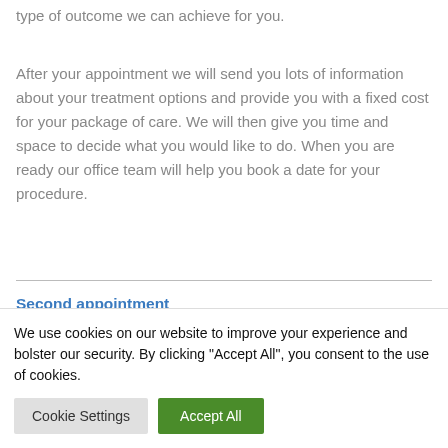type of outcome we can achieve for you.
After your appointment we will send you lots of information about your treatment options and provide you with a fixed cost for your package of care. We will then give you time and space to decide what you would like to do. When you are ready our office team will help you book a date for your procedure.
Second appointment
We use cookies on our website to improve your experience and bolster our security. By clicking “Accept All”, you consent to the use of cookies.